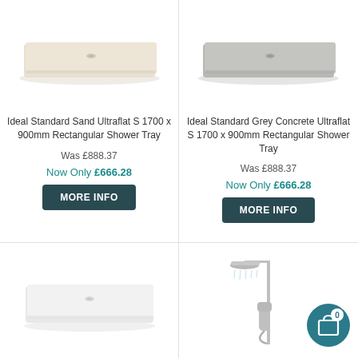[Figure (photo): Ideal Standard Sand coloured ultra-flat rectangular shower tray, top-down perspective]
Ideal Standard Sand Ultraflat S 1700 x 900mm Rectangular Shower Tray
Was £888.37
Now Only £666.28
[Figure (photo): Ideal Standard Grey Concrete coloured ultra-flat rectangular shower tray, top-down perspective]
Ideal Standard Grey Concrete Ultraflat S 1700 x 900mm Rectangular Shower Tray
Was £888.37
Now Only £666.28
[Figure (photo): White ultra-flat rectangular shower tray, top-down perspective, partial view]
[Figure (photo): Chrome shower system with overhead rain shower head and hand shower on rail, partial view]